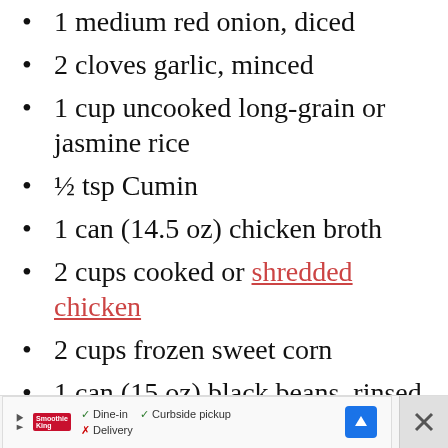1 medium red onion, diced
2 cloves garlic, minced
1 cup uncooked long-grain or jasmine rice
½ tsp Cumin
1 can (14.5 oz) chicken broth
2 cups cooked or shredded chicken
2 cups frozen sweet corn
1 can (15 oz) black beans, rinsed and drained
[Figure (screenshot): Advertisement bar at bottom showing Smoothie King restaurant with dine-in/curbside pickup options and a map icon]